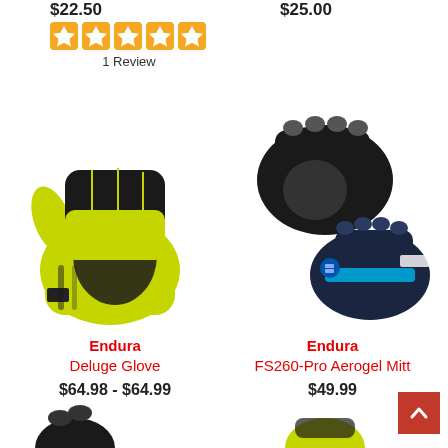$22.50
$25.00
[Figure (other): Five orange star rating icons]
1 Review
[Figure (photo): Yellow-green Endura Deluge full-finger cycling glove]
[Figure (photo): Endura FS260-Pro Aerogel Mitt in black and navy/blue colorways]
Endura
Deluge Glove
$64.98 - $64.99
Endura
FS260-Pro Aerogel Mitt
$49.99
[Figure (other): Partial bottom-left glove image cut off]
[Figure (other): Partial bottom-right glove image cut off]